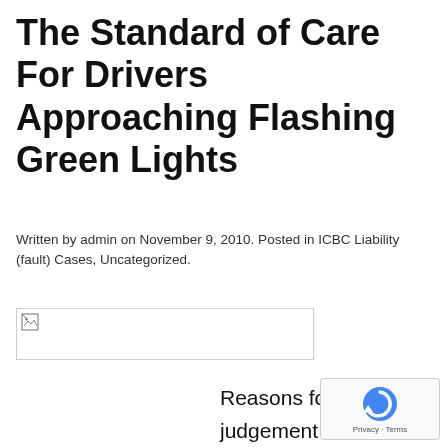The Standard of Care For Drivers Approaching Flashing Green Lights
Written by admin on November 9, 2010. Posted in ICBC Liability (fault) Cases, Uncategorized.
[Figure (other): Broken image placeholder with small icon]
Reasons for judgement were released today the BC